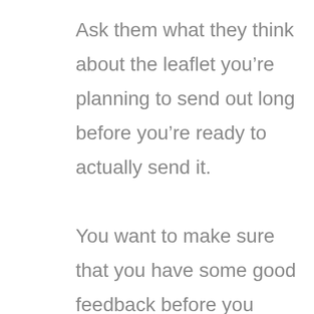Ask them what they think about the leaflet you're planning to send out long before you're ready to actually send it.

You want to make sure that you have some good feedback before you spend a lot of money and these are the people that you can trust to give you some positive feedback on your design. Or they'll tell the truth if